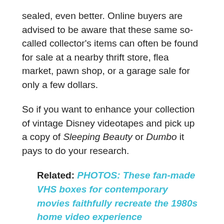sealed, even better. Online buyers are advised to be aware that these same so-called collector's items can often be found for sale at a nearby thrift store, flea market, pawn shop, or a garage sale for only a few dollars.
So if you want to enhance your collection of vintage Disney videotapes and pick up a copy of Sleeping Beauty or Dumbo it pays to do your research.
Related: PHOTOS: These fan-made VHS boxes for contemporary movies faithfully recreate the 1980s home video experience
Similar to the research conducted by Inside the Magic, Snopes found that in 2016, it appears that one copy of Beauty and the Beast sold for $9,000, but Snopes warns that it was almost certainly a fluke. In reality, you can expect bids in the $5–$25 range. As P.T. Barnum...